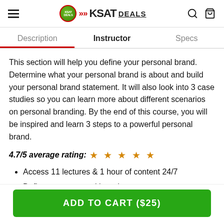KSAT DEALS
Description | Instructor | Specs
This section will help you define your personal brand. Determine what your personal brand is about and build your personal brand statement. It will also look into 3 case studies so you can learn more about different scenarios on personal branding. By the end of this course, you will be inspired and learn 3 steps to a powerful personal brand.
4.7/5 average rating: ★ ★ ★ ★ ★
Access 11 lectures & 1 hour of content 24/7
Define your personal brand
ADD TO CART ($25)